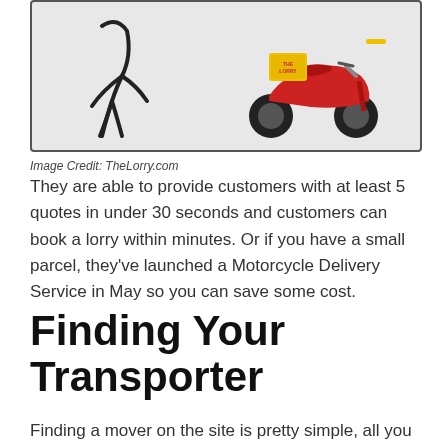[Figure (illustration): Illustration showing a person figure on the left and a red motor scooter/motorcycle with 'The Lorry' branding on the right, against a light grey background with a dark border.]
Image Credit: TheLorry.com
They are able to provide customers with at least 5 quotes in under 30 seconds and customers can book a lorry within minutes. Or if you have a small parcel, they've launched a Motorcycle Delivery Service in May so you can save some cost.
Finding Your Transporter
Finding a mover on the site is pretty simple, all you